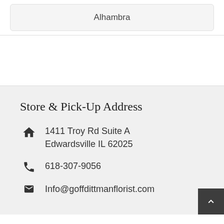Alhambra
Store & Pick-Up Address
1411 Troy Rd Suite A Edwardsville IL 62025
618-307-9056
Info@goffdittmanflorist.com